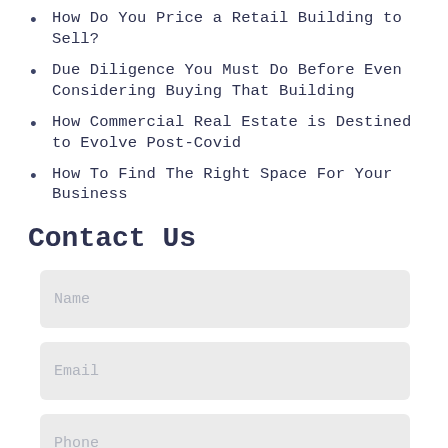How Do You Price a Retail Building to Sell?
Due Diligence You Must Do Before Even Considering Buying That Building
How Commercial Real Estate is Destined to Evolve Post-Covid
How To Find The Right Space For Your Business
Contact Us
Name
Email
Phone